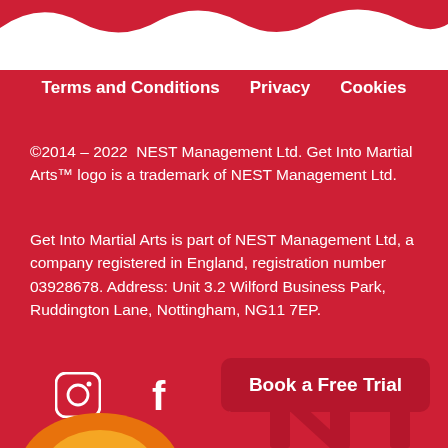Terms and Conditions   Privacy   Cookies
©2014 – 2022  NEST Management Ltd. Get Into Martial Arts™ logo is a trademark of NEST Management Ltd.
Get Into Martial Arts is part of NEST Management Ltd, a company registered in England, registration number 03928678. Address: Unit 3.2 Wilford Business Park, Ruddington Lane, Nottingham, NG11 7EP.
[Figure (other): Social media icons: Instagram, Facebook, YouTube]
Book a Free Trial
[Figure (logo): NEST Management / Get Into Martial Arts logo at the bottom of the page]